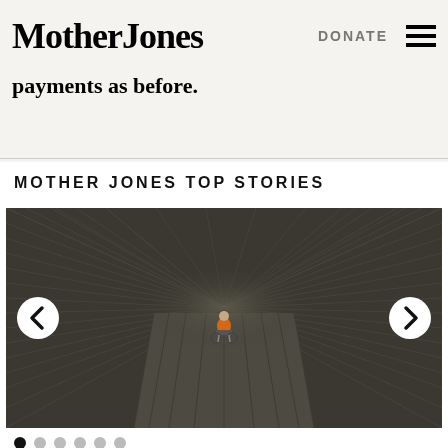Mother Jones | DONATE
payments as before.
MOTHER JONES TOP STORIES
[Figure (photo): Overhead aerial view of a person sitting in a wheelchair centered in a dark, empty room with dramatically receding striped walls and floor, creating a perspective illusion. The person wears an orange top.]
Carousel navigation with 6 dot indicators, first dot active